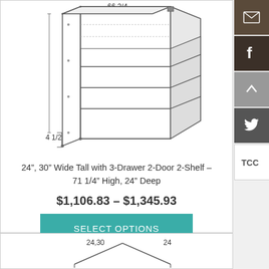[Figure (engineering-diagram): Isometric technical drawing of a tall cabinet with 3 drawers, 2 doors, and 2 shelves. Dimension annotations show 66 3/4 at top and 4 1/2 at bottom-left.]
24”, 30” Wide Tall with 3-Drawer 2-Door 2-Shelf – 71 1/4” High, 24” Deep
$1,106.83 – $1,345.93
SELECT OPTIONS
[Figure (engineering-diagram): Partial isometric diagram at bottom with dimension labels 24,30 and 24 visible, beginning of another product drawing.]